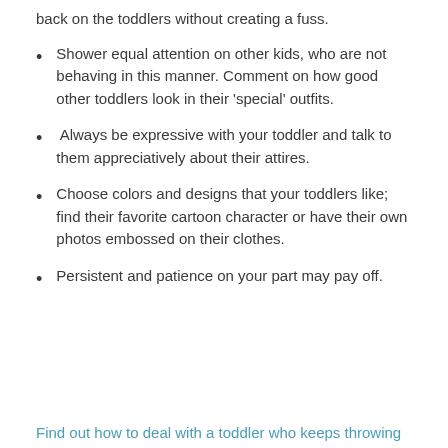back on the toddlers without creating a fuss.
Shower equal attention on other kids, who are not behaving in this manner. Comment on how good other toddlers look in their ‘special’ outfits.
Always be expressive with your toddler and talk to them appreciatively about their attires.
Choose colors and designs that your toddlers like; find their favorite cartoon character or have their own photos embossed on their clothes.
Persistent and patience on your part may pay off.
Find out how to deal with a toddler who keeps throwing